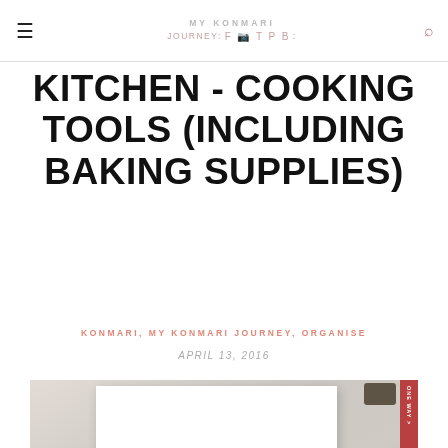MY KONMARI JOURNEY: f G t P B : search
KITCHEN - COOKING TOOLS (INCLUDING BAKING SUPPLIES)
KONMARI, MY KONMARI JOURNEY, ORGANISE
APRIL 13, 2016
[Figure (photo): Featured blog post image showing a white card with 'My Konmari' text in grey and pink script lettering, with a red strip on the right side, positioned over a grey background.]